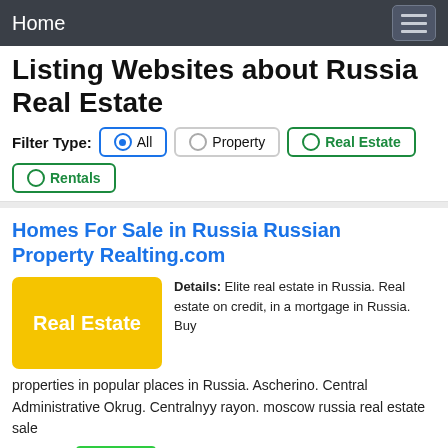Home
Listing Websites about Russia Real Estate
Filter Type: All  Property  Real Estate  Rentals
Homes For Sale in Russia Russian Property Realting.com
Details: Elite real estate in Russia. Real estate on credit, in a mortgage in Russia. Buy properties in popular places in Russia. Ascherino. Central Administrative Okrug. Centralnyy rayon. moscow russia real estate sale
• Verified 7 days ago